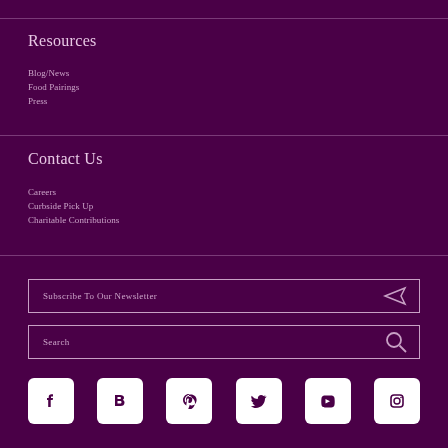Resources
Blog/News
Food Pairings
Press
Contact Us
Careers
Curbside Pick Up
Charitable Contributions
Subscribe To Our Newsletter
Search
[Figure (other): Social media icons row: Facebook, Blogger, Pinterest, Twitter, YouTube, Instagram]